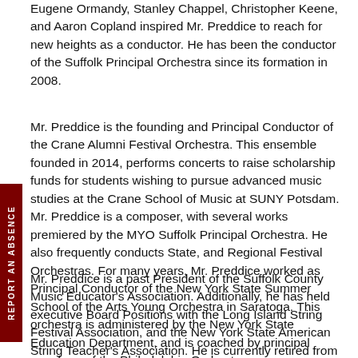Eugene Ormandy, Stanley Chappel, Christopher Keene, and Aaron Copland inspired Mr. Preddice to reach for new heights as a conductor. He has been the conductor of the Suffolk Principal Orchestra since its formation in 2008.
Mr. Preddice is the founding and Principal Conductor of the Crane Alumni Festival Orchestra. This ensemble founded in 2014, performs concerts to raise scholarship funds for students wishing to pursue advanced music studies at the Crane School of Music at SUNY Potsdam. Mr. Preddice is a composer, with several works premiered by the MYO Suffolk Principal Orchestra. He also frequently conducts State, and Regional Festival Orchestras. For many years, Mr. Preddice worked as Principal Conductor of the New York State Summer School of the Arts Young Orchestra in Saratoga. This orchestra is administered by the New York State Education Department, and is coached by principal members of the Philadelphia Orchestra.
Mr. Preddice is a past President of the Suffolk County Music Educator's Association. Additionally, he has held executive Board Positions with the Long Island String Festival Association, and the New York State American String Teacher's Association. He is currently retired from a career as Orchestra director in the